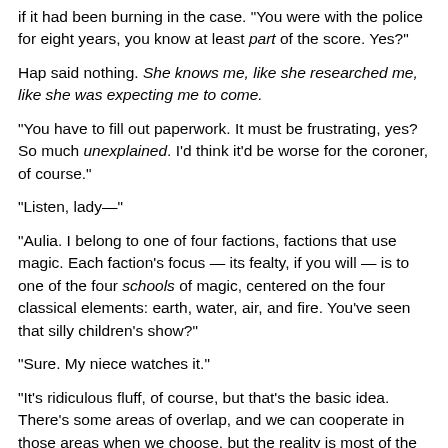if it had been burning in the case. "You were with the police for eight years, you know at least part of the score. Yes?"
Hap said nothing. She knows me, like she researched me, like she was expecting me to come.
"You have to fill out paperwork. It must be frustrating, yes? So much unexplained. I'd think it'd be worse for the coroner, of course."
"Listen, lady—"
"Aulia. I belong to one of four factions, factions that use magic. Each faction's focus — its fealty, if you will — is to one of the four schools of magic, centered on the four classical elements: earth, water, air, and fire. You've seen that silly children's show?"
"Sure. My niece watches it."
"It's ridiculous fluff, of course, but that's the basic idea. There's some areas of overlap, and we can cooperate in those areas when we choose, but the reality is most of the time we barely tolerate each other. The Fire and Water